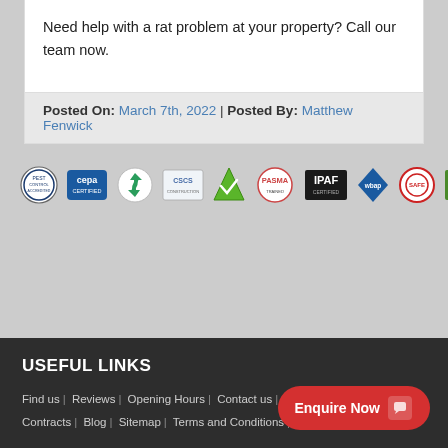Need help with a rat problem at your property? Call our team now.
Posted On: March 7th, 2022 | Posted By: Matthew Fenwick
[Figure (logo): Row of certification and accreditation logos including CEPA Certified, CHAS, CSCS, IPAF Certified, PASMA, THINK Wildlife and others]
USEFUL LINKS
Find us | Reviews | Opening Hours | Contact us | Meet The Team | Contracts | Blog | Sitemap | Terms and Conditions | Complaints Procedure |